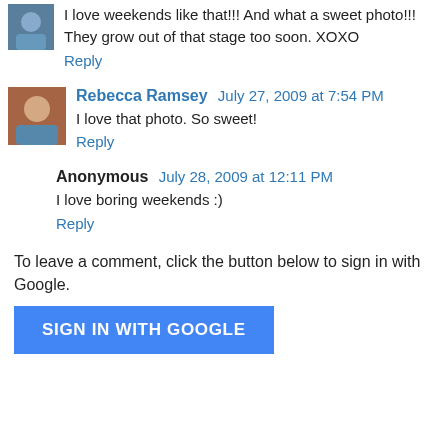[Figure (photo): Small avatar image, blue tones, top-left of first comment]
I love weekends like that!!! And what a sweet photo!!! They grow out of that stage too soon. XOXO
Reply
[Figure (photo): Avatar photo of Rebecca Ramsey, woman in teal shirt, brick background]
Rebecca Ramsey  July 27, 2009 at 7:54 PM
I love that photo. So sweet!
Reply
Anonymous  July 28, 2009 at 12:11 PM
I love boring weekends :)
Reply
To leave a comment, click the button below to sign in with Google.
SIGN IN WITH GOOGLE